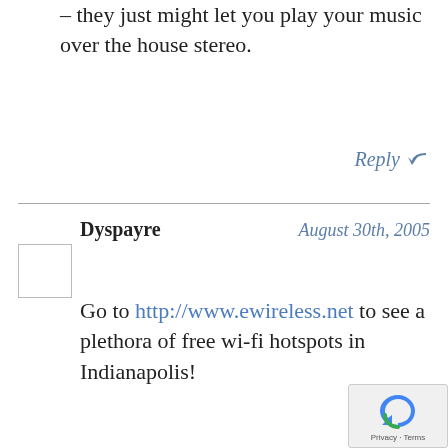– they just might let you play your music over the house stereo.
Reply ↩
Dyspayre    August 30th, 2005
Go to http://www.ewireless.net to see a plethora of free wi-fi hotspots in Indianapolis!
Reply ↩